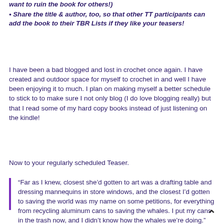want to ruin the book for others!)
• Share the title & author, too, so that other TT participants can add the book to their TBR Lists if they like your teasers!
I have been a bad blogged and lost in crochet once again. I have created and outdoor space for myself to crochet in and well I have been enjoying it to much. I plan on making myself a better schedule to stick to to make sure I not only blog (I do love blogging really) but that I read some of my hard copy books instead of just listening on the kindle!
Now to your regularly scheduled Teaser.
“Far as I knew, closest she’d gotten to art was a drafting table and dressing mannequins in store windows, and the closest I’d gotten to saving the world was my name on some petitions, for everything from recycling aluminum cans to saving the whales. I put my cans in the trash now, and I didn’t know how the whales we’re doing.”
— Joe R. Lansdale, Savage Season